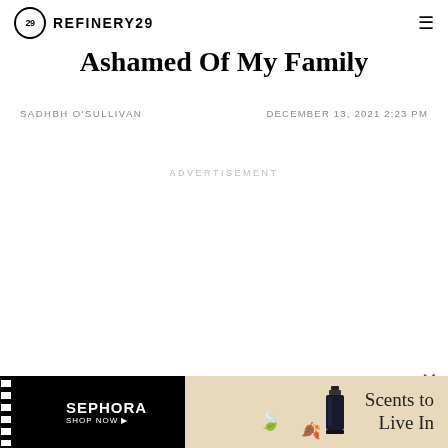REFINERY29
Ashamed Of My Family
SADHBH O'SULLIVAN   DECEMBER 13, 2021 2:23 PM
ADVERTISEMENT
[Figure (illustration): Sephora advertisement banner with black left panel showing SEPHORA SHOP NOW text and beige right panel showing a perfume bottle with leaf decorations and 'Scents to Live In' text]